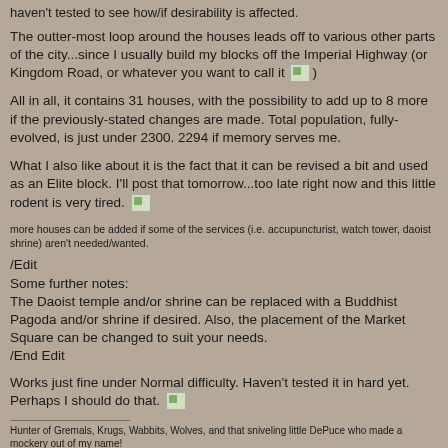haven't tested to see how/if desirability is affected.
The outter-most loop around the houses leads off to various other parts of the city...since I usually build my blocks off the Imperial Highway (or Kingdom Road, or whatever you want to call it 🙂)
All in all, it contains 31 houses, with the possibility to add up to 8 more if the previously-stated changes are made. Total population, fully-evolved, is just under 2300. 2294 if memory serves me.
What I also like about it is the fact that it can be revised a bit and used as an Elite block. I'll post that tomorrow...too late right now and this little rodent is very tired. 🙂
more houses can be added if some of the services (i.e. accupuncturist, watch tower, daoist shrine) aren't needed/wanted.
/Edit
Some further notes:
The Daoist temple and/or shrine can be replaced with a Buddhist Pagoda and/or shrine if desired. Also, the placement of the Market Square can be changed to suit your needs.
/End Edit
Works just fine under Normal difficulty. Haven't tested it in hard yet. Perhaps I should do that. 🙂
Hunter of Gremals, Krugs, Wabbits, Wolves, and that sniveling little DePuce who made a mockery out of my name!
[This message has been edited by Rat (edited 11-26-2002 @ 01:36 AM).]